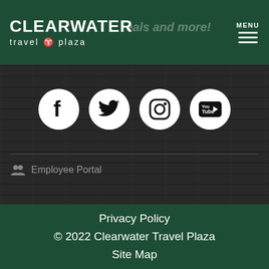CLEARWATER travel ✦ plaza | deals and more! | MENU
[Figure (infographic): Four social media icons (Facebook, Twitter, Instagram, YouTube) as white circles with black icons on dark wood-textured background]
Employee Portal
Privacy Policy | © 2022 Clearwater Travel Plaza | Site Map